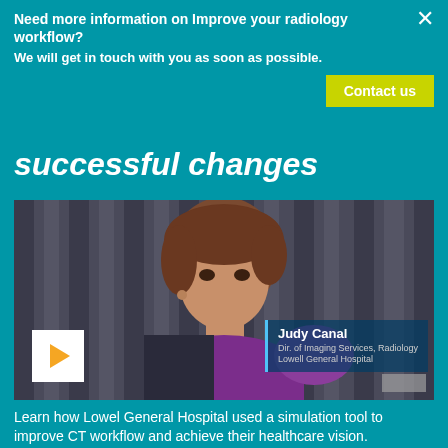Need more information on Improve your radiology workflow?
We will get in touch with you as soon as possible.
Contact us
successful changes
[Figure (photo): Video thumbnail showing Judy Canal, Dir. of Imaging Services, Radiology, Lowell General Hospital. A woman with short brown hair wearing a purple top, with a play button in the lower left.]
Learn how Lowel General Hospital used a simulation tool to improve CT workflow and achieve their healthcare vision.